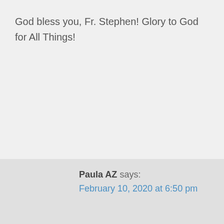God bless you, Fr. Stephen! Glory to God for All Things!
Paula AZ says:
February 10, 2020 at 6:50 pm
Thank you Father. Very helpful answer on the meaning of patristics.
Interesting that Fr Florovsky wrote several volumes on the Fathers of various centuries.
Sometimes you don't know who people are